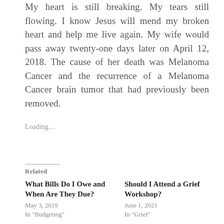My heart is still breaking. My tears still flowing. I know Jesus will mend my broken heart and help me live again. My wife would pass away twenty-one days later on April 12, 2018. The cause of her death was Melanoma Cancer and the recurrence of a Melanoma Cancer brain tumor that had previously been removed.
Loading...
Related
What Bills Do I Owe and When Are They Due?
May 3, 2019
In "Budgeting"
Should I Attend a Grief Workshop?
June 1, 2021
In "Grief"